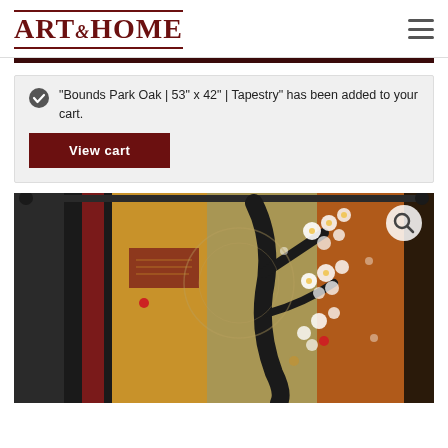Art & Home — navigation header with logo and hamburger menu
"Bounds Park Oak | 53" x 42" | Tapestry" has been added to your cart.
View cart
[Figure (photo): A decorative tapestry artwork showing a floral/botanical composition with white blossoms on dark branches, set against a background of warm earth tones — amber, rust, burgundy, and olive — arranged in vertical stripe panels. Two small red accent dots are visible. A hanging rod with finials runs along the top.]